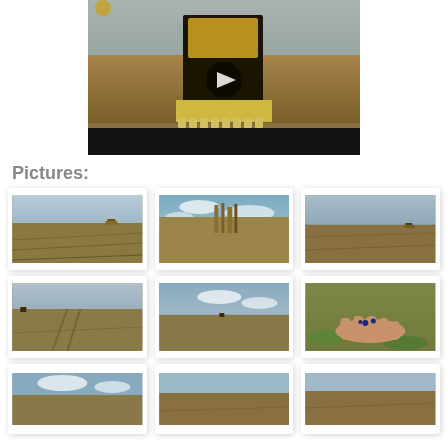[Figure (photo): Video thumbnail showing a combine harvester in a field, with a play button overlay and black bar at bottom]
Pictures:
[Figure (photo): Agricultural field with harvester in distance, row 1 col 1]
[Figure (photo): Agricultural field with tall crop and blue sky, row 1 col 2]
[Figure (photo): Agricultural field with harvester in distance, row 1 col 3]
[Figure (photo): Flat agricultural field with tractor tracks, row 2 col 1]
[Figure (photo): Flat agricultural field with blue sky, row 2 col 2]
[Figure (photo): Close-up of hand holding seeds above grass, row 2 col 3]
[Figure (photo): Agricultural field partial view, row 3 col 1]
[Figure (photo): Agricultural field partial view, row 3 col 2]
[Figure (photo): Agricultural field partial view, row 3 col 3]